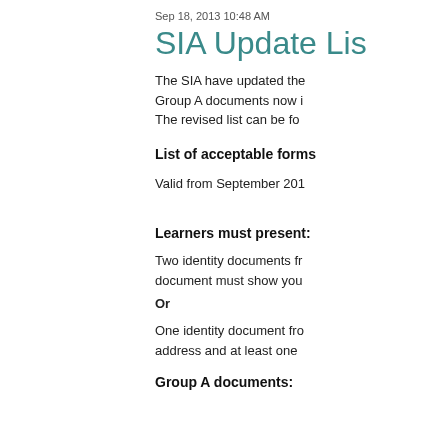Sep 18, 2013 10:48 AM
SIA Update Lis
The SIA have updated the Group A documents now i The revised list can be fo
List of acceptable forms
Valid from September 201
Learners must present:
Two identity documents fr document must show you
Or
One identity document fro address and at least one
Group A documents: